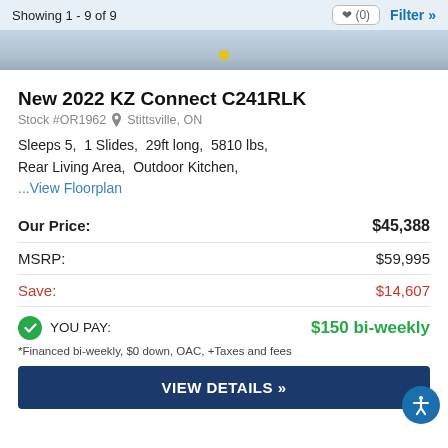Showing 1 - 9 of 9
[Figure (photo): Partial image of an RV exterior, gray gravel texture visible]
New 2022 KZ Connect C241RLK
Stock #OR1962  Stittsville, ON
Sleeps 5,  1 Slides,  29ft long,  5810 lbs,
Rear Living Area,  Outdoor Kitchen,
...View Floorplan
|  |  |
| --- | --- |
| Our Price: | $45,388 |
| MSRP: | $59,995 |
| Save: | $14,607 |
YOU PAY:   $150 bi-weekly
*Financed bi-weekly, $0 down, OAC, +Taxes and fees
VIEW DETAILS »